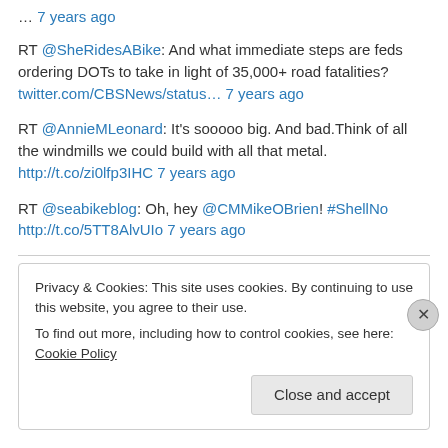… 7 years ago
RT @SheRidesABike: And what immediate steps are feds ordering DOTs to take in light of 35,000+ road fatalities? twitter.com/CBSNews/status… 7 years ago
RT @AnnieMLeonard: It's sooooo big. And bad.Think of all the windmills we could build with all that metal. http://t.co/zi0lfp3IHC 7 years ago
RT @seabikeblog: Oh, hey @CMMikeOBrien! #ShellNo http://t.co/5TT8AlvUIo 7 years ago
Privacy & Cookies: This site uses cookies. By continuing to use this website, you agree to their use.
To find out more, including how to control cookies, see here: Cookie Policy